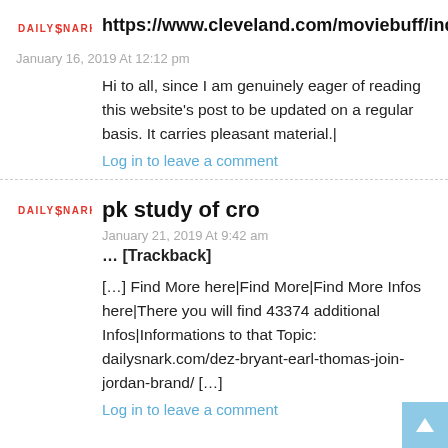[Figure (logo): DailySnark logo in red uppercase text]
https://www.cleveland.com/moviebuff/index.ssf/2012/08/matthew_mcconaughey_on_killer.html
January 16, 2019 At 12:12 pm
Hi to all, since I am genuinely eager of reading this website's post to be updated on a regular basis. It carries pleasant material.|
Log in to leave a comment
[Figure (logo): DailySnark logo in red uppercase text]
pk study of cro
January 21, 2019 At 9:42 am
… [Trackback]
[…] Find More here|Find More|Find More Infos here|There you will find 43374 additional Infos|Informations to that Topic: dailysnark.com/dez-bryant-earl-thomas-join-jordan-brand/ […]
Log in to leave a comment